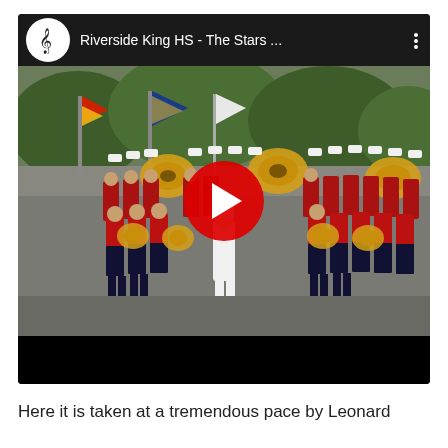[Figure (screenshot): YouTube video thumbnail showing Riverside King High School marching band performing on a street. Band members wear red uniforms with white hats and carry brass instruments including tubas. A drum major in white stands at center front. Flags including US flag and blue flag visible at back. Trees in background. Video title bar shows 'Riverside King HS - The Stars ...' with a treble clef logo on left and three-dot menu on right. A large red YouTube play button is centered on the thumbnail. A black progress bar area appears at the bottom of the video player.]
Here it is taken at a tremendous pace by Leonard